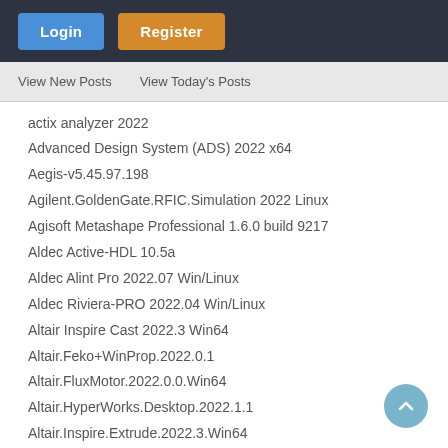Login | Register
View New Posts   View Today's Posts
actix analyzer 2022
Advanced Design System (ADS) 2022 x64
Aegis-v5.45.97.198
Agilent.GoldenGate.RFIC.Simulation 2022 Linux
Agisoft Metashape Professional 1.6.0 build 9217
Aldec Active-HDL 10.5a
Aldec Alint Pro 2022.07 Win/Linux
Aldec Riviera-PRO 2022.04 Win/Linux
Altair Inspire Cast 2022.3 Win64
Altair.Feko+WinProp.2022.0.1
Altair.FluxMotor.2022.0.0.Win64
Altair.HyperWorks.Desktop.2022.1.1
Altair.Inspire.Extrude.2022.3.Win64
Altair.Inspire.Form2022.3.Win64
Altair.Inspire.Render.2022.3.10117.Win64
Altair.Inspire.Studio.2022.3.10117.Win64
Altair.PollEx.6.0.Win64